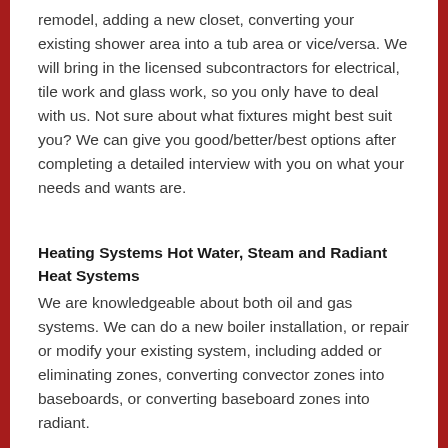remodel, adding a new closet, converting your existing shower area into a tub area or vice/versa. We will bring in the licensed subcontractors for electrical, tile work and glass work, so you only have to deal with us. Not sure about what fixtures might best suit you? We can give you good/better/best options after completing a detailed interview with you on what your needs and wants are.
Heating Systems Hot Water, Steam and Radiant Heat Systems
We are knowledgeable about both oil and gas systems. We can do a new boiler installation, or repair or modify your existing system, including added or eliminating zones, converting convector zones into baseboards, or converting baseboard zones into radiant.
Hot Water Heaters
Gas, oil or electric; tank type, indirect or instantaneous. We can provide you with options and make the best